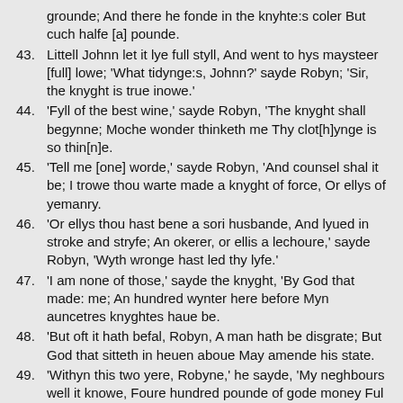grounde; And there he fonde in the knyhte:s coler But cuch halfe [a] pounde.
43. Littell Johnn let it lye full styll, And went to hys maysteer [full] lowe; 'What tidynge:s, Johnn?' sayde Robyn; 'Sir, the knyght is true inowe.'
44. 'Fyll of the best wine,' sayde Robyn, 'The knyght shall begynne; Moche wonder thinketh me Thy clot[h]ynge is so thin[n]e.
45. 'Tell me [one] worde,' sayde Robyn, 'And counsel shal it be; I trowe thou warte made a knyght of force, Or ellys of yemanry.
46. 'Or ellys thou hast bene a sori husbande, And lyued in stroke and stryfe; An okerer, or ellis a lechoure,' sayde Robyn, 'Wyth wronge hast led thy lyfe.'
47. 'I am none of those,' sayde the knyght, 'By God that made: me; An hundred wynter here before Myn auncetres knyghtes haue be.
48. 'But oft it hath befal, Robyn, A man hath be disgrate; But God that sitteth in heuen aboue May amende his state.
49. 'Withyn this two yere, Robyne,' he sayde, 'My neghbours well it knowe, Foure hundred pounde of gode money Ful well than myght I spende.
50. 'Nowe haue I no gode,' saide the knyght, 'God hath shaped such an ende, But my chyldren and my wyfe, Tyll God yt may amende.'
51. 'In what maner,' than sayde Robyn, 'Hast thou lorne thy